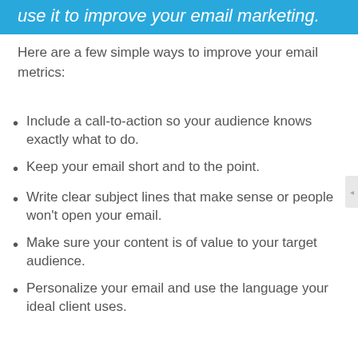use it to improve your email marketing.
Here are a few simple ways to improve your email metrics:
Include a call-to-action so your audience knows exactly what to do.
Keep your email short and to the point.
Write clear subject lines that make sense or people won't open your email.
Make sure your content is of value to your target audience.
Personalize your email and use the language your ideal client uses.